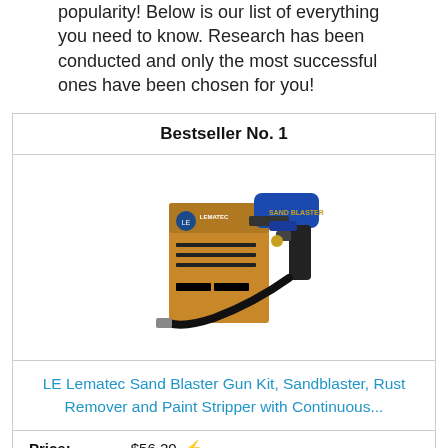popularity! Below is our list of everything you need to know. Research has been conducted and only the most successful ones have been chosen for you!
Bestseller No. 1
[Figure (photo): Photo of LE Lematec Sand Blaster Gun Kit with blue gun body, black hose, and product box]
LE Lematec Sand Blaster Gun Kit, Sandblaster, Rust Remover and Paint Stripper with Continuous...
Price:  $56.20  ⚡